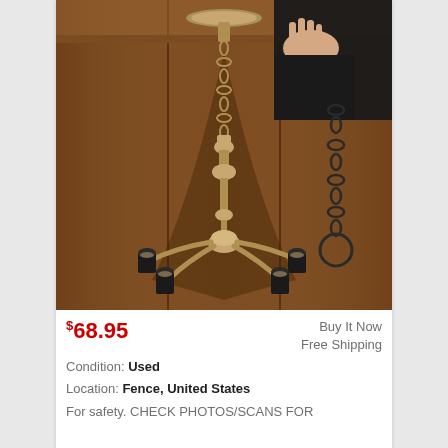[Figure (photo): A brass antique-style 4-arm chandelier with black lamp sockets, being held by a person's hand against a dark wood panel background. A chain hangs to the side.]
$68.95
Buy It Now
Free Shipping
Condition: Used
Location: Fence, United States
For safety. CHECK PHOTOS/SCANS FOR